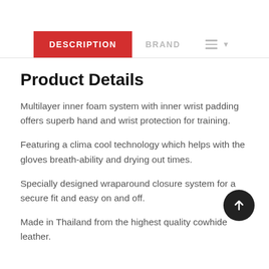DESCRIPTION | BRAND
Product Details
Multilayer inner foam system with inner wrist padding offers superb hand and wrist protection for training.
Featuring a clima cool technology which helps with the gloves breath-ability and drying out times.
Specially designed wraparound closure system for a secure fit and easy on and off.
Made in Thailand from the highest quality cowhide leather.